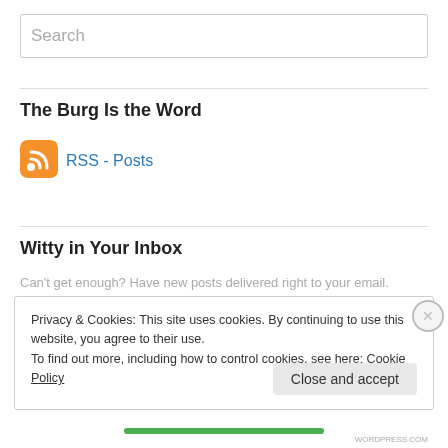Search
The Burg Is the Word
[Figure (logo): RSS feed orange icon with white signal waves]
RSS - Posts
Witty in Your Inbox
Can't get enough? Have new posts delivered right to your email.
Privacy & Cookies: This site uses cookies. By continuing to use this website, you agree to their use.
To find out more, including how to control cookies, see here: Cookie Policy